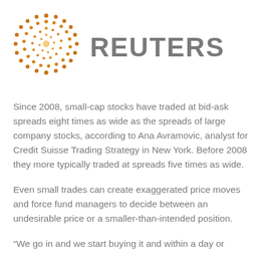[Figure (logo): Reuters logo: dotted circular globe made of orange/amber dots arranged in a sphere pattern, with the word REUTERS in bold gray letters to the right]
Since 2008, small-cap stocks have traded at bid-ask spreads eight times as wide as the spreads of large company stocks, according to Ana Avramovic, analyst for Credit Suisse Trading Strategy in New York. Before 2008 they more typically traded at spreads five times as wide.
Even small trades can create exaggerated price moves and force fund managers to decide between an undesirable price or a smaller-than-intended position.
“We go in and we start buying it and within a day or